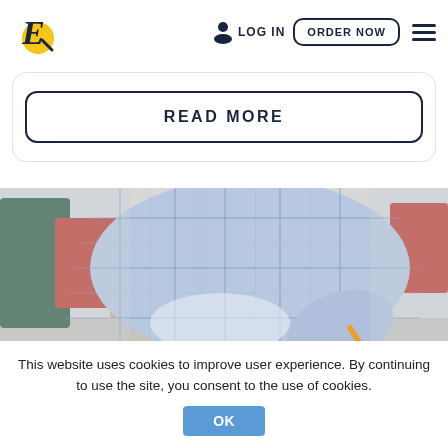Logo | LOG IN | ORDER NOW | menu
[Figure (screenshot): READ MORE button inside a rounded card]
[Figure (photo): Person in blue plaid pajamas lying on carpet writing with a pencil, with colorful gift boxes in background]
This website uses cookies to improve user experience. By continuing to use the site, you consent to the use of cookies.
OK